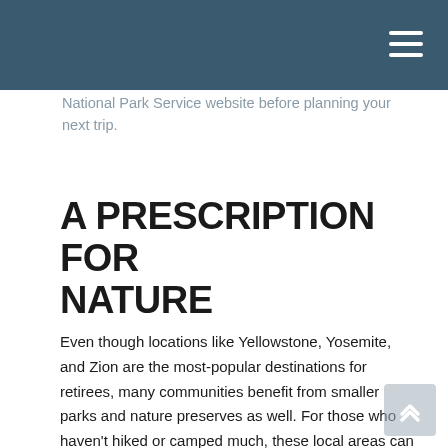National Park Service website before planning your next trip.
A PRESCRIPTION FOR NATURE
Even though locations like Yellowstone, Yosemite, and Zion are the most-popular destinations for retirees, many communities benefit from smaller parks and nature preserves as well. For those who haven't hiked or camped much, these local areas can be a great way to get started. Even those with more than a few years of national park experience stand to benefit, both physically and mentally, from visiting one of their local wildlife areas. So, before you pack your bags and load up the camper, do yourself a favor and look into what your home offers. You may discover that one of